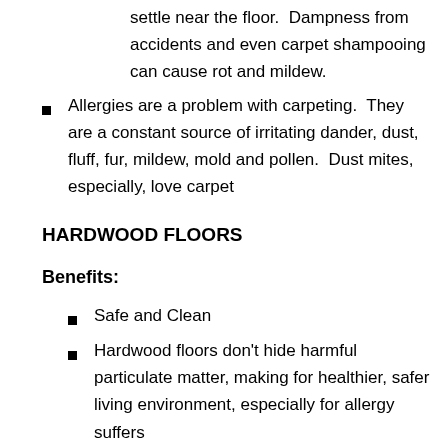settle near the floor.  Dampness from accidents and even carpet shampooing can cause rot and mildew.
Allergies are a problem with carpeting.  They are a constant source of irritating dander, dust, fluff, fur, mildew, mold and pollen.  Dust mites, especially, love carpet
HARDWOOD FLOORS
Benefits:
Safe and Clean
Hardwood floors don't hide harmful particulate matter, making for healthier, safer living environment, especially for allergy suffers
Generally, hardwood floors may cost more than carpeted floors, but they require less maintenance, last